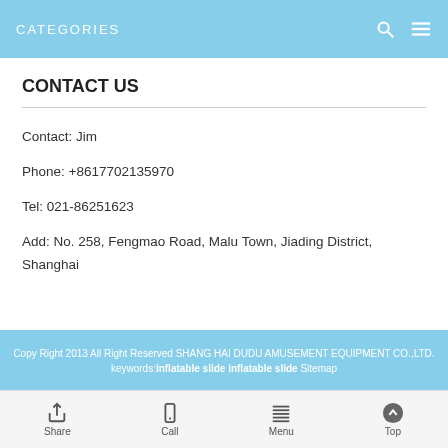CATEGORIES
CONTACT US
Contact: Jim
Phone: +8617702135970
Tel: 021-86251623
Add: No. 258, Fengmao Road, Malu Town, Jiading District, Shanghai
Copy Right 2013 All Right Reserved SHANG HAI DUDU AMUSEMENT EQUIPMENT CO.,LTD. keywords: inflatable slide inflatable slide Sitemap
Share  Call  Menu  Top